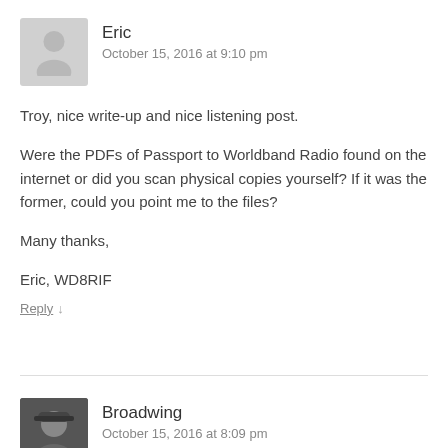[Figure (illustration): Gray placeholder avatar silhouette icon on light gray background]
Eric
October 15, 2016 at 9:10 pm
Troy, nice write-up and nice listening post.
Were the PDFs of Passport to Worldband Radio found on the internet or did you scan physical copies yourself? If it was the former, could you point me to the files?
Many thanks,
Eric, WD8RIF
Reply ↓
[Figure (photo): Small black and white photo of person wearing a hat]
Broadwing
October 15, 2016 at 8:09 pm